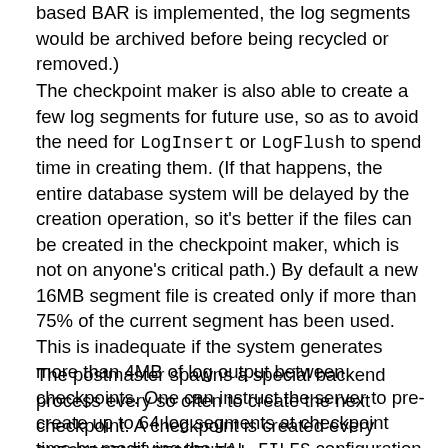based BAR is implemented, the log segments would be archived before being recycled or removed.)
The checkpoint maker is also able to create a few log segments for future use, so as to avoid the need for LogInsert or LogFlush to spend time in creating them. (If that happens, the entire database system will be delayed by the creation operation, so it's better if the files can be created in the checkpoint maker, which is not on anyone's critical path.) By default a new 16MB segment file is created only if more than 75% of the current segment has been used. This is inadequate if the system generates more than 4MB of log output between checkpoints. One can instruct the server to pre-create up to 64 log segments at checkpoint time by modifying the WAL_FILES configuration parameter.
The postmaster spawns a special backend process every so often to create the next checkpoint. A checkpoint is created every CHECKPOINT_SEGMENTS log segments, or every CHECKPOINT_TIMEOUT seconds, whichever comes first. The default settings are 3 segments and 300 seconds respectively. It is also possible to force a checkpoint by using...